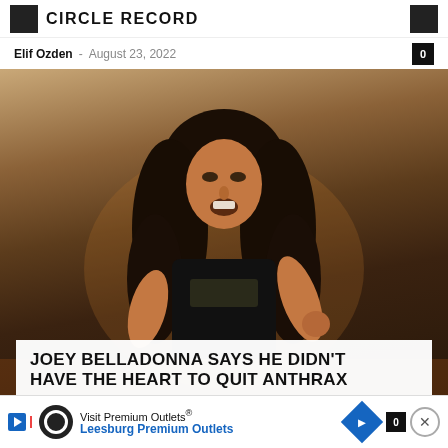CIRCLE RECORD
Elif Ozden – August 23, 2022
[Figure (photo): A long-haired heavy metal performer on stage, singing with microphone, wearing a black t-shirt, against a warm brownish stage background]
JOEY BELLADONNA SAYS HE DIDN'T HAVE THE HEART TO QUIT ANTHRAX